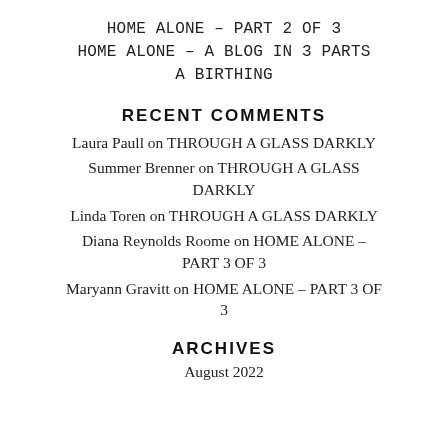HOME ALONE – PART 2 OF 3
HOME ALONE – A BLOG IN 3 PARTS
A BIRTHING
RECENT COMMENTS
Laura Paull on THROUGH A GLASS DARKLY
Summer Brenner on THROUGH A GLASS DARKLY
Linda Toren on THROUGH A GLASS DARKLY
Diana Reynolds Roome on HOME ALONE – PART 3 OF 3
Maryann Gravitt on HOME ALONE – PART 3 OF 3
ARCHIVES
August 2022